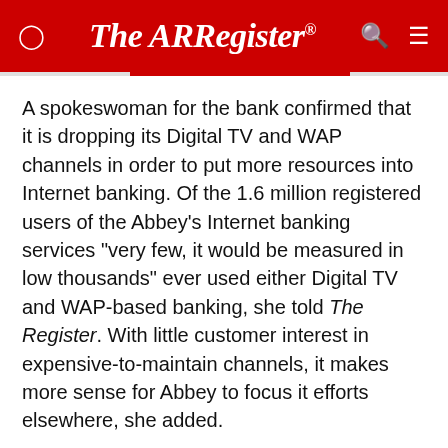The Register
A spokeswoman for the bank confirmed that it is dropping its Digital TV and WAP channels in order to put more resources into Internet banking. Of the 1.6 million registered users of the Abbey's Internet banking services "very few, it would be measured in low thousands" ever used either Digital TV and WAP-based banking, she told The Register. With little customer interest in expensive-to-maintain channels, it makes more sense for Abbey to focus it efforts elsewhere, she added.
Meanwhile this week's news of the demise of Halifax's WAP banking channel has brought a tear to the eye of one of its former developers, Dan Sullivan, who writes: